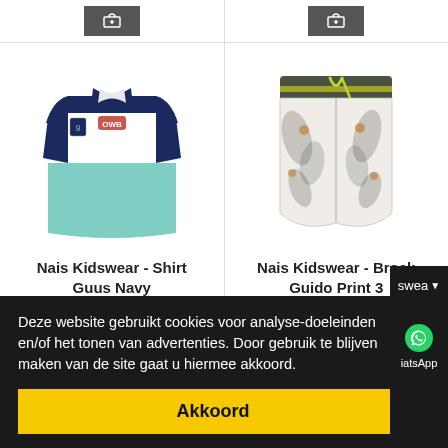[Figure (screenshot): Top strip showing partial add-to-cart buttons from previous product row]
[Figure (photo): Nais Kidswear Shirt Guus Navy - navy blue and teal polo shirt with tropical floral print]
Nais Kidswear - Shirt Guus Navy
€ 8,00
[Figure (photo): Nais Kidswear Broek Guido Print 3 - tropical print shorts with olive/yellow waistband]
Nais Kidswear - Broek Guido Print 3
€ 10,00
Deze website gebruikt cookies voor analyse-doeleinden en/of het tonen van advertenties. Door gebruik te blijven maken van de site gaat u hiermee akkoord.
Akkoord